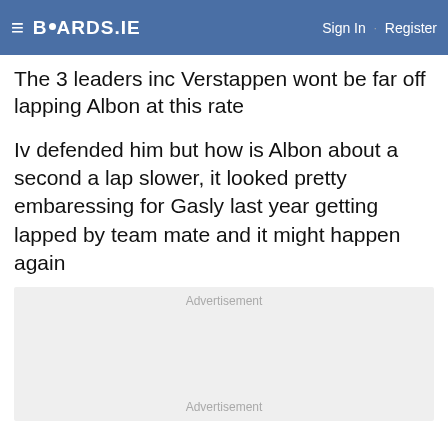BOARDS.IE  Sign In  ·  Register
The 3 leaders inc Verstappen wont be far off lapping Albon at this rate
Iv defended him but how is Albon about a second a lap slower, it looked pretty embaressing for Gasly last year getting lapped by team mate and it might happen again
[Figure (other): Advertisement placeholder area]
Advertisement